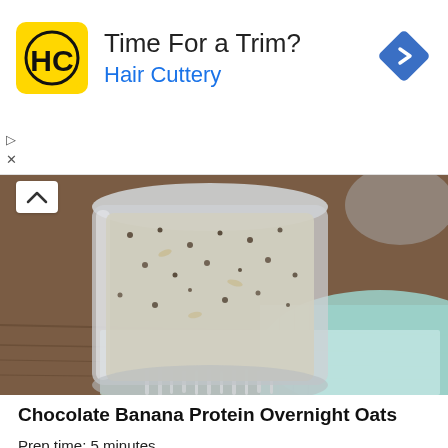[Figure (other): Hair Cuttery advertisement banner showing logo, 'Time For a Trim?' headline, 'Hair Cuttery' subtext in blue, and a diamond-shaped navigation arrow icon]
[Figure (photo): Close-up photograph of a glass jar filled with chocolate banana protein overnight oats, sitting on a teal/blue woven cloth with fringe, on a wooden surface]
Chocolate Banana Protein Overnight Oats
Prep time: 5 minutes
Chill time: 3 hours
Servings: 2